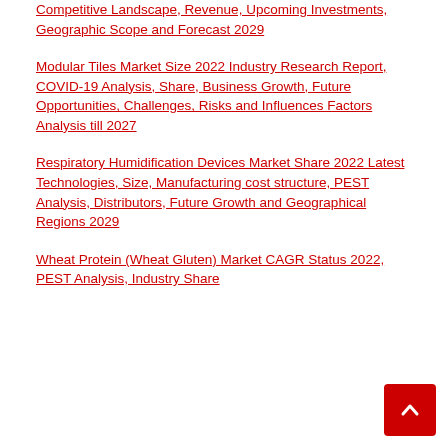Competitive Landscape, Revenue, Upcoming Investments, Geographic Scope and Forecast 2029
Modular Tiles Market Size 2022 Industry Research Report, COVID-19 Analysis, Share, Business Growth, Future Opportunities, Challenges, Risks and Influences Factors Analysis till 2027
Respiratory Humidification Devices Market Share 2022 Latest Technologies, Size, Manufacturing cost structure, PEST Analysis, Distributors, Future Growth and Geographical Regions 2029
Wheat Protein (Wheat Gluten) Market CAGR Status 2022, PEST Analysis, Industry Share